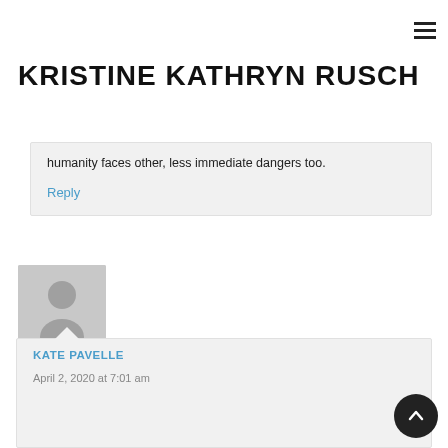≡ (hamburger menu icon)
KRISTINE KATHRYN RUSCH
humanity faces other, less immediate dangers too.
Reply
[Figure (illustration): Gray placeholder avatar image of a person silhouette]
KATE PAVELLE
April 2, 2020 at 7:01 am